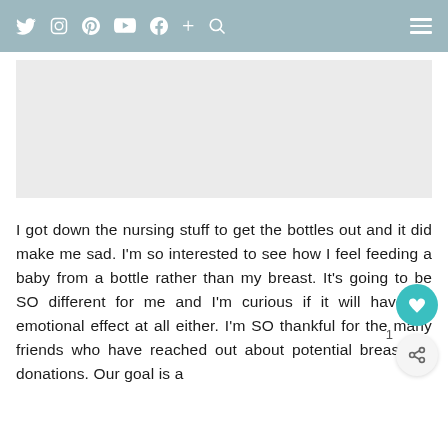Navigation bar with social media icons (Twitter, Instagram, Pinterest, YouTube, Facebook, Plus, Search) and hamburger menu
[Figure (photo): Light gray image placeholder rectangle]
I got down the nursing stuff to get the bottles out and it did make me sad. I'm so interested to see how I feel feeding a baby from a bottle rather than my breast. It's going to be SO different for me and I'm curious if it will have an emotional effect at all either. I'm SO thankful for the many friends who have reached out about potential breastmilk donations. Our goal is a